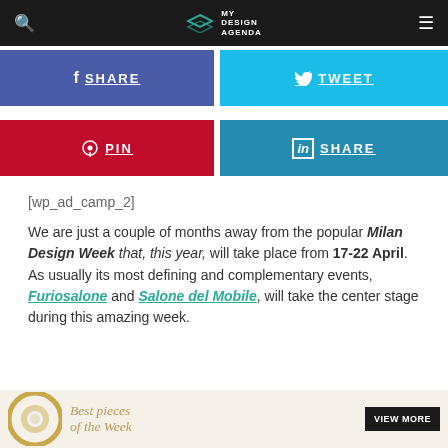MY DESIGN AGENDA
[Figure (screenshot): Facebook Share button (blue/purple)]
[Figure (screenshot): Twitter Tweet button (light blue)]
[Figure (screenshot): Pinterest Pin button (red)]
[Figure (screenshot): LinkedIn Share button (dark cyan)]
[wp_ad_camp_2]
We are just a couple of months away from the popular Milan Design Week that, this year, will take place from 17-22 April. As usually its most defining and complementary events, Furiosalone and Salone del Mobile, will take the center stage during this amazing week.
[Figure (infographic): Best pieces of the Week promo bar with gold circular decorative element and VIEW MORE button]